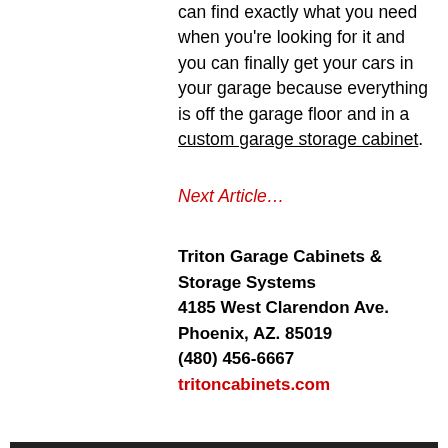can find exactly what you need when you're looking for it and you can finally get your cars in your garage because everything is off the garage floor and in a custom garage storage cabinet.
Next Article…
Triton Garage Cabinets & Storage Systems
4185 West Clarendon Ave.
Phoenix, AZ. 85019
(480) 456-6667
tritoncabinets.com